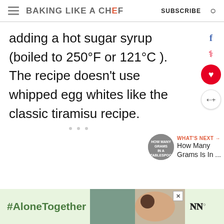BAKING LIKE A CHEF  SUBSCRIBE
adding a hot sugar syrup (boiled to 250°F or 121°C ). The recipe doesn't use whipped egg whites like the classic tiramisu recipe.
[Figure (screenshot): Social share sidebar with Facebook f icon, Pinterest p icon, red heart button, and share button]
[Figure (screenshot): What's Next promo: thumbnail image with text 'WHAT'S NEXT → How Many Grams Is In ...']
[Figure (screenshot): Ad banner with #AloneTogether text on green background, photo of couple, and M logo]